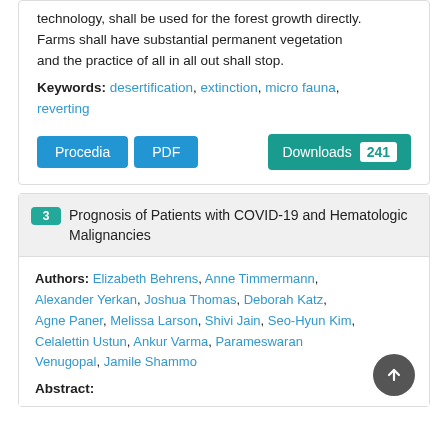technology, shall be used for the forest growth directly. Farms shall have substantial permanent vegetation and the practice of all in all out shall stop.
Keywords: desertification, extinction, micro fauna, reverting
Procedia  PDF  Downloads 241
3 Prognosis of Patients with COVID-19 and Hematologic Malignancies
Authors: Elizabeth Behrens, Anne Timmermann, Alexander Yerkan, Joshua Thomas, Deborah Katz, Agne Paner, Melissa Larson, Shivi Jain, Seo-Hyun Kim, Celalettin Ustun, Ankur Varma, Parameswaran Venugopal, Jamile Shammo
Abstract: